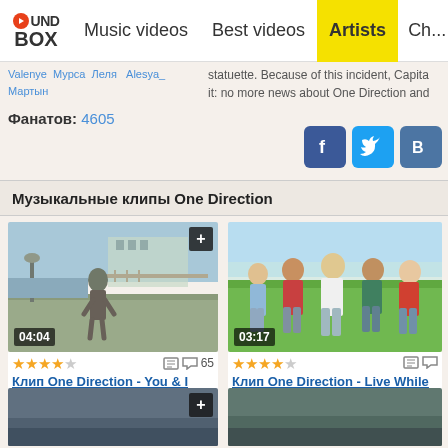SoundBox | Music videos | Best videos | Artists | Ch...
Valenye Мурса Леля Alesya_Мартын
statuette. Because of this incident, Capita... it: no more news about One Direction and...
Фанатов: 4605
[Figure (screenshot): Social media share buttons: Facebook (blue), Twitter (blue bird), VKontakte (blue B)]
Музыкальные клипы One Direction
[Figure (photo): Video thumbnail for Клип One Direction - You & I, showing man on pier, duration 04:04, 4 stars, 65 comments]
★★★★ 65
Клип One Direction - You & I
[Figure (photo): Video thumbnail for Клип One Direction - Live While We're Young, showing group walking in field, duration 03:17, 4 stars]
★★★★
Клип One Direction - Live While We're Young
[Figure (photo): Video thumbnail row 2 left, partially visible]
[Figure (photo): Video thumbnail row 2 right, partially visible]